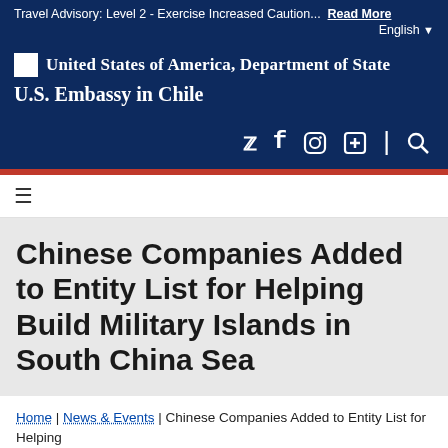Travel Advisory: Level 2 - Exercise Increased Caution... Read More
English
United States of America, Department of State
U.S. Embassy in Chile
Chinese Companies Added to Entity List for Helping Build Military Islands in South China Sea
Home | News & Events | Chinese Companies Added to Entity List for Helping Build Military Islands in South China Sea